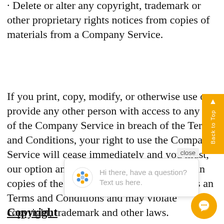· Delete or alter any copyright, trademark or other proprietary rights notices from copies of materials from a Company Service.
If you print, copy, modify, or otherwise use or provide any other person with access to any part of the Company Service in breach of the Terms and Conditions, your right to use the Company Service will cease immediately and you must, at our option and direction, return or destroy any copies of the materials you have made from the Company Service. Any use of the Company Service not expressly permitted by these Terms and Conditions is a breach of these Terms and Conditions and may violate copyright, trademark and other laws.
Copyright
[Figure (screenshot): Chat popup overlay with 'Hi there, have a question? Text us here.' message, a 'close' button, a scroll-to-top orange sidebar button, and an orange chat circle button at bottom right.]